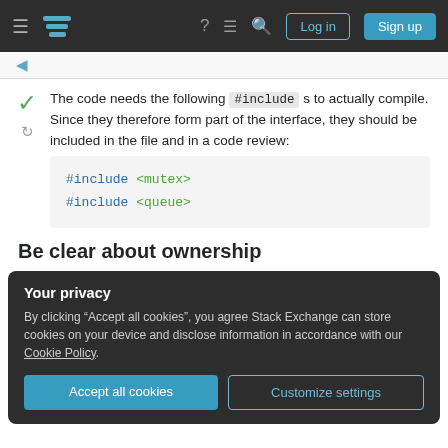Stack Exchange navigation bar with hamburger menu, logo, help, chat, search icons, Log in and Sign up buttons
The code needs the following #includes to actually compile. Since they therefore form part of the interface, they should be included in the file and in a code review:
#include <mutex>
#include <queue>
Be clear about ownership
Your privacy
By clicking "Accept all cookies", you agree Stack Exchange can store cookies on your device and disclose information in accordance with our Cookie Policy.
Accept all cookies  Customize settings